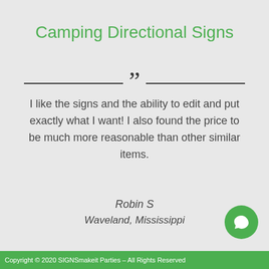Camping Directional Signs
I like the signs and the ability to edit and put exactly what I want! I also found the price to be much more reasonable than other similar items.
Robin S
Waveland, Mississippi
Copyright © 2020 SIGNSmakeit Parties – All Rights Reserved